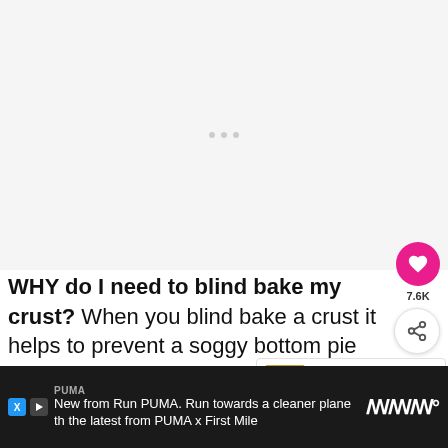[Figure (photo): Light gray image placeholder area with three small gray dots in the center]
WHY do I need to blind bake my crust? When you blind bake a crust it helps to prevent a soggy bottom pie crust after your pie has finished baking. Using this method takes just a few extra minutes of prep, but you'll be happy you did it in the end.
[Figure (photo): WHAT'S NEXT thumbnail showing Frittata Egg Muffins 3...]
[Figure (screenshot): PUMA advertisement banner: New from Run PUMA. Run towards a cleaner planet with the latest from PUMA x First Mile]